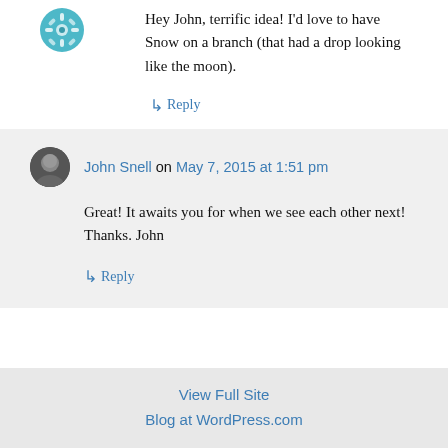[Figure (illustration): Small circular avatar icon with teal/blue gear or snowflake pattern, top left]
Hey John, terrific idea! I'd love to have Snow on a branch (that had a drop looking like the moon).
↳ Reply
John Snell on May 7, 2015 at 1:51 pm
Great! It awaits you for when we see each other next! Thanks. John
↳ Reply
View Full Site
Blog at WordPress.com